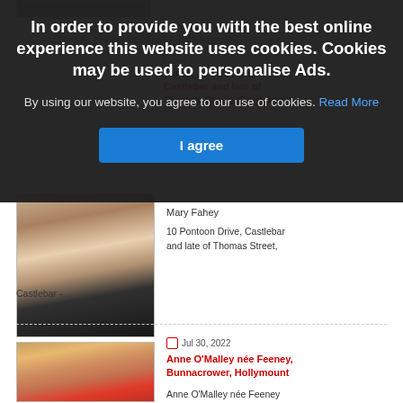In order to provide you with the best online experience this website uses cookies. Cookies may be used to personalise Ads.
By using our website, you agree to our use of cookies. Read More
I agree
Jul 30, 2022
Fahey, 10 Pontoon, Castlebar and late of Thomas Street, Castlebar
[Figure (photo): Portrait photo of Mary Fahey]
Mary Fahey
10 Pontoon Drive, Castlebar and late of Thomas Street, Castlebar -…
Jul 30, 2022
Anne O'Malley née Feeney, Bunnacrower, Hollymount
[Figure (photo): Portrait photo of Anne O'Malley née Feeney]
Anne O'Malley née Feeney
Bunnacrower, Hollymount -